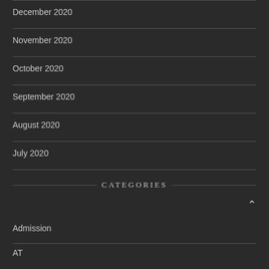December 2020
November 2020
October 2020
September 2020
August 2020
July 2020
CATEGORIES
Admission
AT